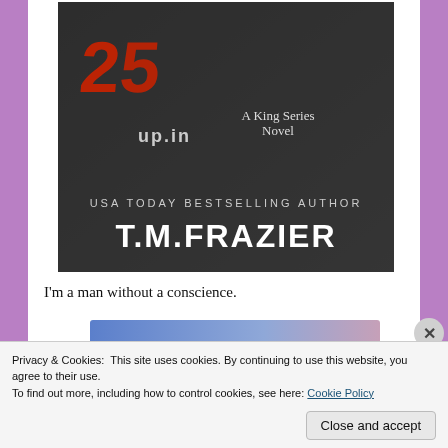[Figure (illustration): Book cover for a King Series Novel by T.M. Frazier. Shows tattooed hands, red stylized number or letters on dark background, text 'A King Series Novel', 'USA TODAY BESTSELLING AUTHOR', 'T.M.FRAZIER']
I'm a man without a conscience.
[Figure (other): Advertisement banner with blue-to-pink gradient background, partially visible]
Privacy & Cookies: This site uses cookies. By continuing to use this website, you agree to their use.
To find out more, including how to control cookies, see here: Cookie Policy
Close and accept